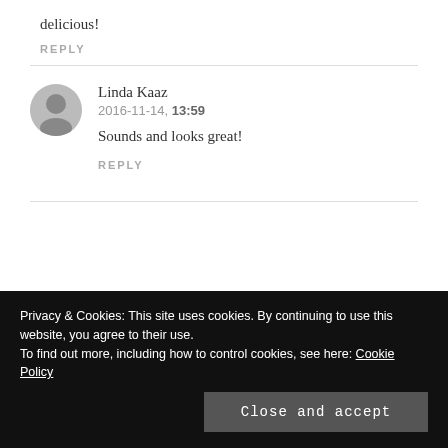delicious!
REPLY
Linda Kaaz
2016-11-14, 13:59
Sounds and looks great!
REPLY
Privacy & Cookies: This site uses cookies. By continuing to use this website, you agree to their use.
To find out more, including how to control cookies, see here: Cookie Policy
Close and accept